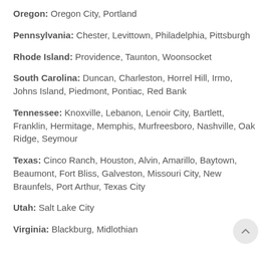Oregon: Oregon City, Portland
Pennsylvania: Chester, Levittown, Philadelphia, Pittsburgh
Rhode Island: Providence, Taunton, Woonsocket
South Carolina: Duncan, Charleston, Horrel Hill, Irmo, Johns Island, Piedmont, Pontiac, Red Bank
Tennessee: Knoxville, Lebanon, Lenoir City, Bartlett, Franklin, Hermitage, Memphis, Murfreesboro, Nashville, Oak Ridge, Seymour
Texas: Cinco Ranch, Houston, Alvin, Amarillo, Baytown, Beaumont, Fort Bliss, Galveston, Missouri City, New Braunfels, Port Arthur, Texas City
Utah: Salt Lake City
Virginia: Blackburg, Midlothian